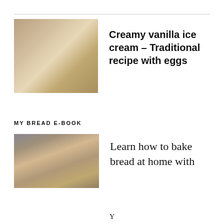[Figure (photo): Top-down photo of creamy vanilla ice cream in a dark loaf pan with an ice cream scoop, and a glass jar with ice cream and spoon on a marble surface]
Creamy vanilla ice cream – Traditional recipe with eggs
MY BREAD E-BOOK
[Figure (photo): Photo of a smiling woman in a kitchen with jars and kitchen items in the background]
Learn how to bake bread at home with